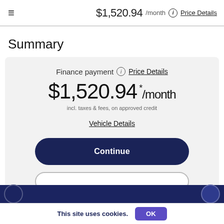≡  $1,520.94 /month ⓘ Price Details
Summary
Finance payment ⓘ Price Details
$1,520.94 * /month
incl. taxes & fees, on approved credit
Vehicle Details
Continue
This site uses cookies.
OK